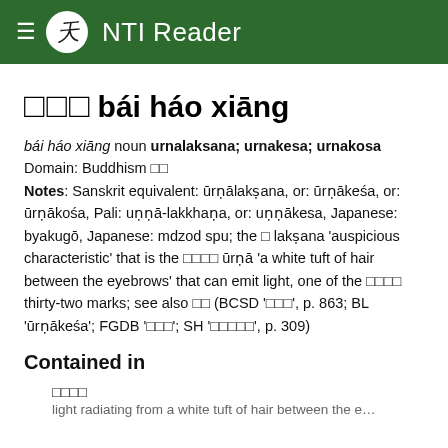NTI Reader
□□□  bái háo xiāng
bái háo xiāng noun urnalaksana; urnakesa; urnakosa
Domain: Buddhism □□
Notes: Sanskrit equivalent: ūrṇālakṣana, or: ūrṇākeśa, or: ūrṇākośa, Pali: uṇṇā-lakkhaṇa, or: uṇṇākesa, Japanese: byakugō, Japanese: mdzod spu; the □ lakṣana 'auspicious characteristic' that is the □□□□ ūrṇā 'a white tuft of hair between the eyebrows' that can emit light, one of the □□□□ thirty-two marks; see also □□ (BCSD '□□□', p. 863; BL 'ūrṇākeśa'; FGDB '□□□'; SH '□□□□□', p. 309)
Contained in
□□□□
light radiating from a white tuft of hair between the e…